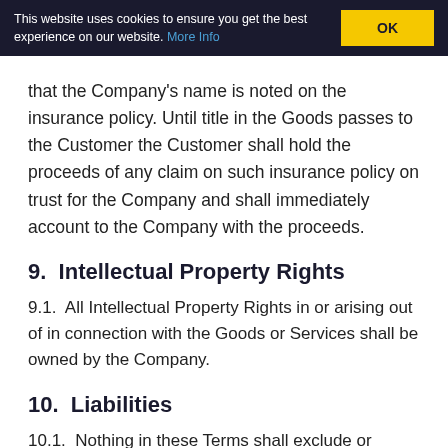This website uses cookies to ensure you get the best experience on our website. More Info | OK
that the Company's name is noted on the insurance policy. Until title in the Goods passes to the Customer the Customer shall hold the proceeds of any claim on such insurance policy on trust for the Company and shall immediately account to the Company with the proceeds.
9.  Intellectual Property Rights
9.1.  All Intellectual Property Rights in or arising out of in connection with the Goods or Services shall be owned by the Company.
10.  Liabilities
10.1.  Nothing in these Terms shall exclude or restrict the Company's liability for death or personal injury resulting from the Company's negligence or the Company's liability